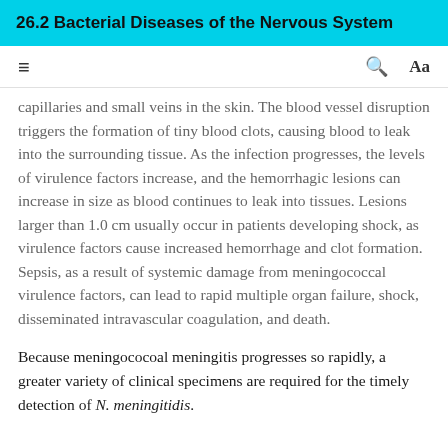26.2 Bacterial Diseases of the Nervous System
capillaries and small veins in the skin. The blood vessel disruption triggers the formation of tiny blood clots, causing blood to leak into the surrounding tissue. As the infection progresses, the levels of virulence factors increase, and the hemorrhagic lesions can increase in size as blood continues to leak into tissues. Lesions larger than 1.0 cm usually occur in patients developing shock, as virulence factors cause increased hemorrhage and clot formation. Sepsis, as a result of systemic damage from meningococcal virulence factors, can lead to rapid multiple organ failure, shock, disseminated intravascular coagulation, and death.
Because meningococoal meningitis progresses so rapidly, a greater variety of clinical specimens are required for the timely detection of N. meningitidis.